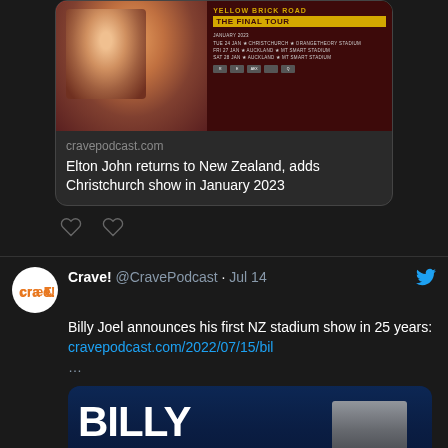[Figure (screenshot): Twitter/social media feed screenshot showing two tweets from @CravePodcast. Top tweet has a link card for cravepodcast.com showing 'Elton John returns to New Zealand, adds Christchurch show in January 2023' with an Elton John tour image. Below are two heart/like icons. The second tweet reads 'Billy Joel announces his first NZ stadium show in 25 years: cravepodcast.com/2022/07/15/bil ...' with a Billy Joel promotional image showing large white text 'BILLY JOEL'.]